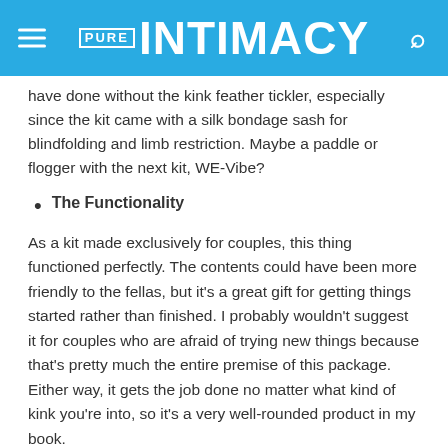PURE INTIMACY
have done without the kink feather tickler, especially since the kit came with a silk bondage sash for blindfolding and limb restriction. Maybe a paddle or flogger with the next kit, WE-Vibe?
The Functionality
As a kit made exclusively for couples, this thing functioned perfectly. The contents could have been more friendly to the fellas, but it’s a great gift for getting things started rather than finished. I probably wouldn’t suggest it for couples who are afraid of trying new things because that’s pretty much the entire premise of this package. Either way, it gets the job done no matter what kind of kink you’re into, so it’s a very well-rounded product in my book.